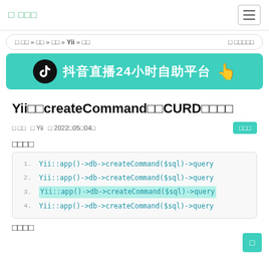□ □□□
□ □□ » □□ » □□ » Yii » □□   □ □□□□□
[Figure (infographic): Teal banner with TikTok logo and Chinese text: 抖音直播24小时自助平台 with hand cursor icon]
Yii□□createCommand□□CURD□□□□
□ □□   □ Yii   □ 2022□05□04□   □□□
□□□□
1. Yii::app()->db->createCommand($sql)->query
2. Yii::app()->db->createCommand($sql)->query
3. Yii::app()->db->createCommand($sql)->query
4. Yii::app()->db->createCommand($sql)->query
□□□□